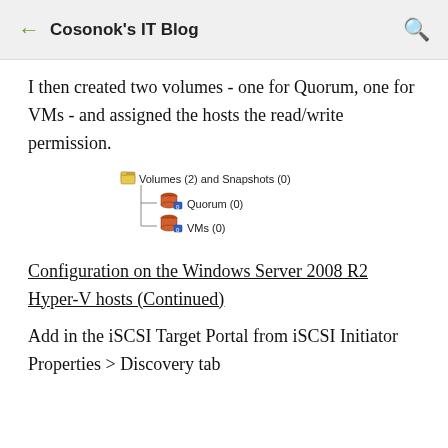Cosonok's IT Blog
I then created two volumes - one for Quorum, one for VMs - and assigned the hosts the read/write permission.
[Figure (screenshot): Tree view showing Volumes (2) and Snapshots (0) with two sub-items: Quorum (0) and VMs (0), each shown with a cylinder/database icon.]
Configuration on the Windows Server 2008 R2 Hyper-V hosts (Continued)
Add in the iSCSI Target Portal from iSCSI Initiator Properties > Discovery tab